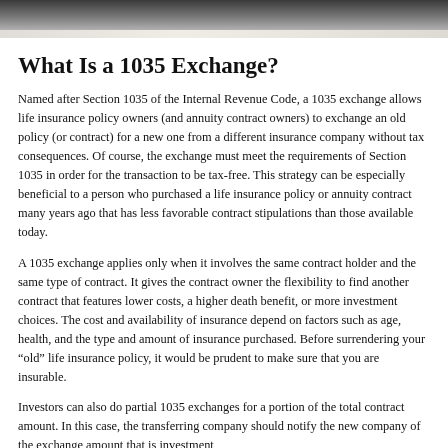[Figure (photo): Partial view of stacked papers or books, dark background, cropped at top of page]
What Is a 1035 Exchange?
Named after Section 1035 of the Internal Revenue Code, a 1035 exchange allows life insurance policy owners (and annuity contract owners) to exchange an old policy (or contract) for a new one from a different insurance company without tax consequences. Of course, the exchange must meet the requirements of Section 1035 in order for the transaction to be tax-free. This strategy can be especially beneficial to a person who purchased a life insurance policy or annuity contract many years ago that has less favorable contract stipulations than those available today.
A 1035 exchange applies only when it involves the same contract holder and the same type of contract. It gives the contract owner the flexibility to find another contract that features lower costs, a higher death benefit, or more investment choices. The cost and availability of insurance depend on factors such as age, health, and the type and amount of insurance purchased. Before surrendering your "old" life insurance policy, it would be prudent to make sure that you are insurable.
Investors can also do partial 1035 exchanges for a portion of the total contract amount. In this case, the transferring company should notify the new company of the exchange amount that is investment